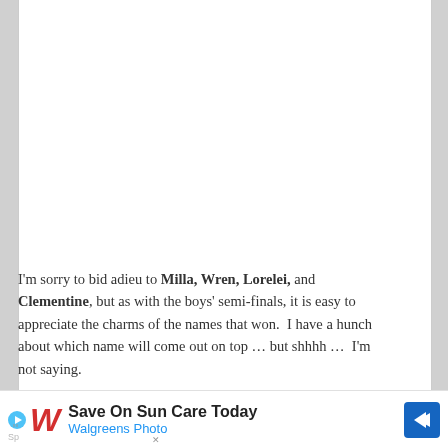I'm sorry to bid adieu to Milla, Wren, Lorelei, and Clementine, but as with the boys' semi-finals, it is easy to appreciate the charms of the names that won.  I have a hunch about which name will come out on top … but shhhh …  I'm not saying.
[Figure (other): Walgreens Photo advertisement banner: 'Save On Sun Care Today' with Walgreens cursive logo and navigation arrow icon]